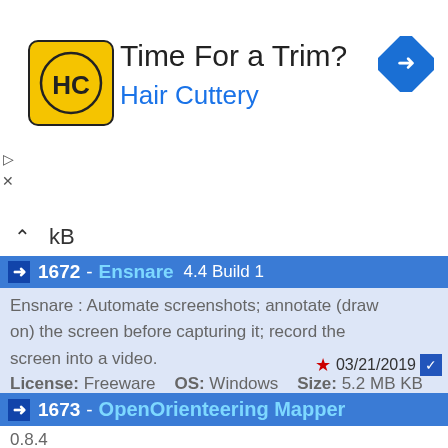[Figure (screenshot): Hair Cuttery advertisement banner with HC logo, text 'Time For a Trim?' and 'Hair Cuttery', and a blue navigation icon.]
KB
1672 - Ensnare  4.4 Build 1
Ensnare : Automate screenshots; annotate (draw on) the screen before capturing it; record the screen into a video.
License: Freeware   OS: Windows   Size: 5.2 MB KB
03/21/2019
1673 - OpenOrienteering Mapper
0.8.4
OpenOrienteering Mapper : Design orienteering maps using a comprehensive set of drawing tools
7/22/2019